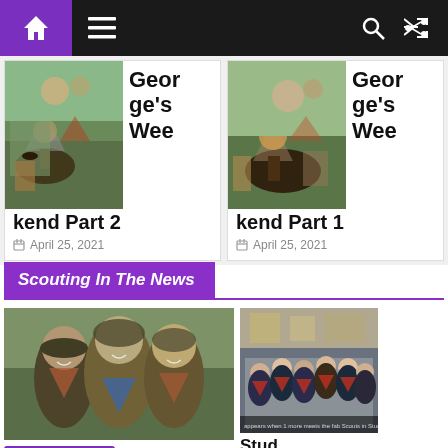[Figure (screenshot): Website navigation bar with home icon (purple), hamburger menu, search and shuffle icons on dark background]
[Figure (photo): Card with photo of children around campfire and title: George's Weekend Part 2, dated April 25, 2021]
[Figure (photo): Card with photo of campfire and title: George's Weekend Part 1, dated April 25, 2021]
Scouting In The News
[Figure (photo): Photo of three smiling girls in scout scarves]
Caretaker's Blog
Featured
News
Scouting In The News
[Figure (photo): Photo of cub scouts group indoors]
Studley Cub Scouts up for crisp packet fundraising and recycling drive
March 29, 2019